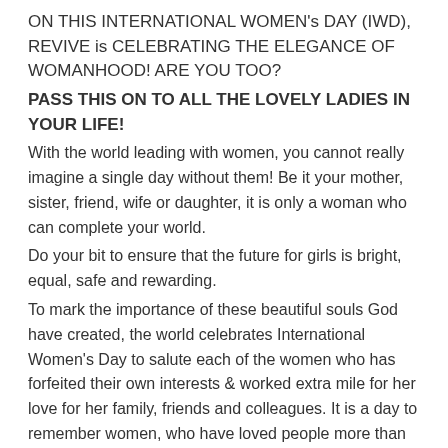ON THIS INTERNATIONAL WOMEN's DAY (IWD), REVIVE is CELEBRATING THE ELEGANCE OF WOMANHOOD! ARE YOU TOO?
PASS THIS ON TO ALL THE LOVELY LADIES IN YOUR LIFE!
With the world leading with women, you cannot really imagine a single day without them! Be it your mother, sister, friend, wife or daughter, it is only a woman who can complete your world.
Do your bit to ensure that the future for girls is bright, equal, safe and rewarding.
To mark the importance of these beautiful souls God have created, the world celebrates International Women's Day to salute each of the women who has forfeited their own interests & worked extra mile for her love for her family, friends and colleagues. It is a day to remember women, who have loved people more than they have ever loved themselves. International Women's Day (March 8) is a global day celebrating the social, economic, cultural and political achievements of women. Its all about unity, celebration, reflection, advocacy and action. Purple is a colour for symbolising women.